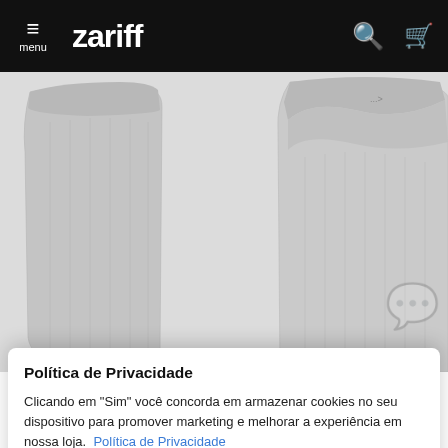zariff — menu, search, cart navigation
[Figure (photo): Two grey knit socks shown side by side — left sock showing full length, right sock folded over at top. Grey heather fabric texture visible on both.]
Política de Privacidade
Clicando em "Sim" você concorda em armazenar cookies no seu dispositivo para promover marketing e melhorar a experiência em nossa loja.  Política de Privacidade
Customizar configurações
Continuar